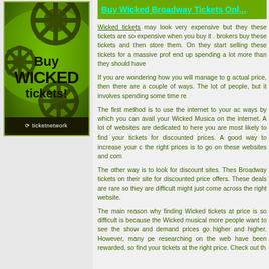[Figure (advertisement): Green and black advertisement for buying Wicked Broadway tickets on TicketNetwork, featuring gear graphics and bold text 'Buy WICKED tickets!']
Buy Wicked Broadway Tickets Onl...
Wicked tickets may look very expensive but they these tickets are so expensive when you buy it . brokers buy these tickets and then store them. On they start selling these tickets for a massive prof end up spending a lot more than they should have
If you are wondering how you will manage to g actual price, then there are a couple of ways. The lot of people, but it involves spending some time re
The first method is to use the internet to your ac ways by which you can avail your Wicked Musica on the internet. A lot of websites are dedicated to here you are most likely to find your tickets for discounted prices. A good way to increase your c the right prices is to go on these websites and com
The other way is to look for discount sites. Thes Broadway tickets on their site for discounted price offers. These deals are rare so they are difficult might just come across the right website.
The main reason why finding Wicked tickets at price is so difficult is because the Wicked musical more people want to see the show and demand prices go higher and higher. However, many pe researching on the web have been rewarded, so find your tickets at the right price. Check out th